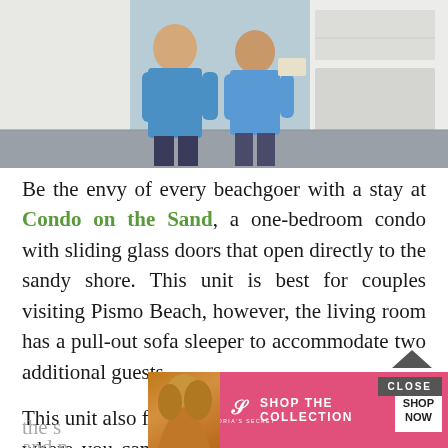[Figure (photo): Two people in blue shirts in a kitchen/bathroom setting with white cabinetry and gray flooring]
Be the envy of every beachgoer with a stay at Condo on the Sand, a one-bedroom condo with sliding glass doors that open directly to the sandy shore. This unit is best for couples visiting Pismo Beach, however, the living room has a pull-out sofa sleeper to accommodate two additional guests.
This unit also features a small patio seating area where you can enjoy a morning cup of coffee beachside or unwind in the evening as the s[un sets]... [and p]... walk
[Figure (screenshot): Victoria's Secret advertisement banner showing a model with dark curly hair, VS logo, 'SHOP THE COLLECTION' text, and a 'SHOP NOW' button on pink background. A 'CLOSE' button appears above the ad.]